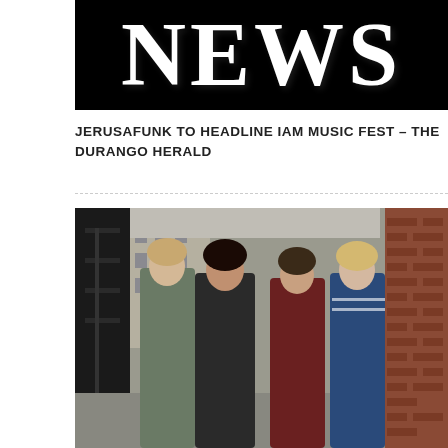[Figure (photo): Black banner with large white serif text reading NEWS]
JERUSAFUNK TO HEADLINE IAM MUSIC FEST – THE DURANGO HERALD
[Figure (photo): Four young people (a band) standing in an urban alley with brick wall, fire escape stairs visible in background with city buildings]